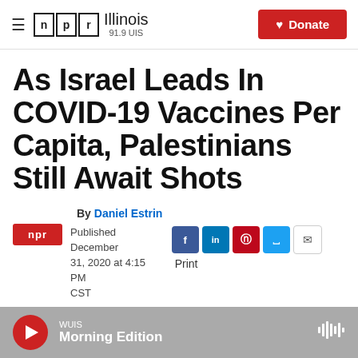NPR Illinois 91.9 UIS — Donate
As Israel Leads In COVID-19 Vaccines Per Capita, Palestinians Still Await Shots
By Daniel Estrin
Published December 31, 2020 at 4:15 PM CST
WUIS Morning Edition